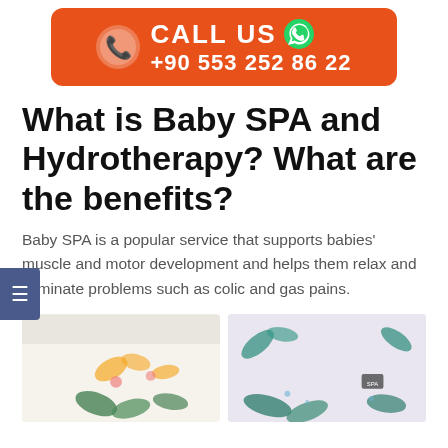[Figure (infographic): Orange call-to-action banner with phone icon, 'CALL US' text, WhatsApp icon, and phone number +90 553 252 86 22]
What is Baby SPA and Hydrotherapy? What are the benefits?
Baby SPA is a popular service that supports babies' muscle and motor development and helps them relax and eliminate problems such as colic and gas pains.
[Figure (photo): Two side-by-side photos of a baby spa room interior with decorative tropical leaf wall stickers]
[Figure (photo): Second photo of baby spa room with green and teal leaf decorations on light purple/grey wall]